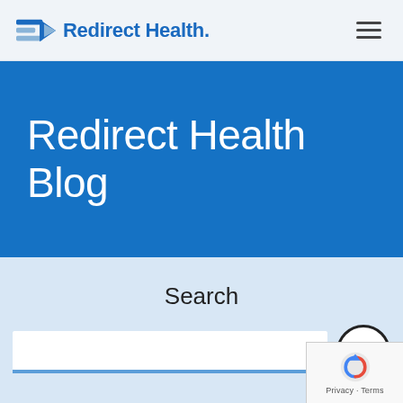Redirect Health. [navigation logo and hamburger menu]
Redirect Health Blog
Search
[Figure (screenshot): reCAPTCHA badge with logo and Privacy - Terms text]